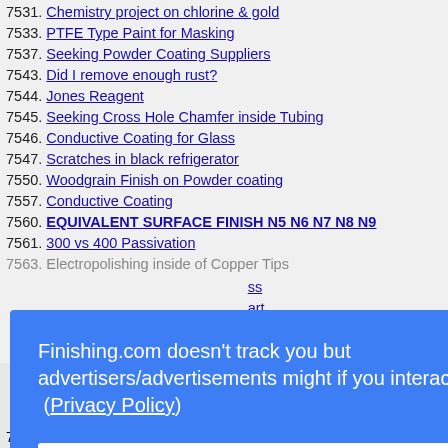7531. Chemistry project on chlorine & gold
7533. PTFE Type Paint for Masking
7537. Seeking Powder Coating Suppliers
7543. Did I remove enough rust?
7544. Jones Reagent
7545. Seeking Cross Hole Chamfer inside Tubing
7546. Conductive Coating for Glass
7547. Scratches in black refrigerator
7550. Woodgrain Finish on Powder coating
7557. Conductive Coating
7560. EQUIVALENT SURFACE FINISH N5 N6 N7 N8 N9
7561. 300 vs 400 Passivation
7563. Electropolishing inside of Copper Tips
Finishing.com doesn't track you but advertisers/advertisements might if you interact with them (Privacy Policy)
7583. How to choose a salt spray chamber?